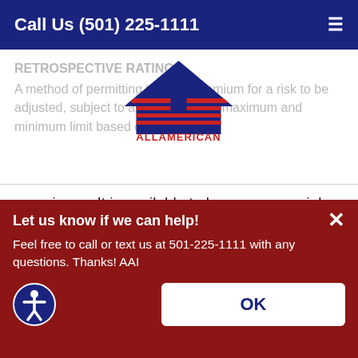Call Us (501) 225-1111
RETROSPECTIVE RATING
A method of permitting the final premium for a risk to be adjusted, subject to an agreed-upon maximum and minimum limit based on actual loss experience. It is available to large commercial insurance buyers.
[Figure (logo): All American Insurance logo — blue triangular house/arrow shape with red stripes, text ALLAMERICAN in red below]
RETURN ON EQUITY
Net income divided by total equity.
Let us know if we can help!
Feel free to call or text us at 501-225-1111 with any questions. Thanks! AAI
OK